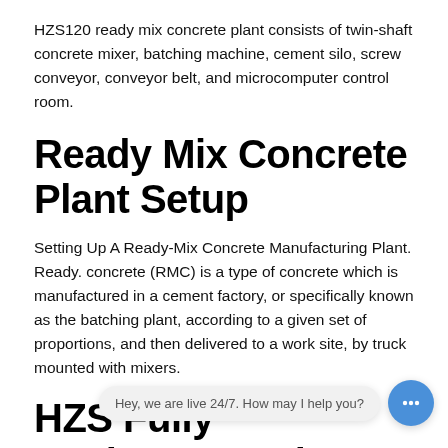HZS120 ready mix concrete plant consists of twin-shaft concrete mixer, batching machine, cement silo, screw conveyor, conveyor belt, and microcomputer control room.
Ready Mix Concrete Plant Setup
Setting Up A Ready-Mix Concrete Manufacturing Plant. Ready. concrete (RMC) is a type of concrete which is manufactured in a cement factory, or specifically known as the batching plant, according to a given set of proportions, and then delivered to a work site, by truck mounted with mixers.
HZS Fully Environmental-